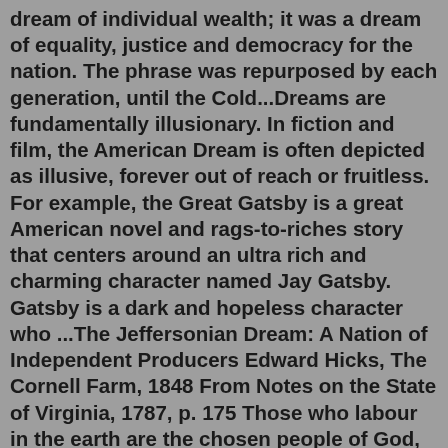dream of individual wealth; it was a dream of equality, justice and democracy for the nation. The phrase was repurposed by each generation, until the Cold...Dreams are fundamentally illusionary. In fiction and film, the American Dream is often depicted as illusive, forever out of reach or fruitless. For example, the Great Gatsby is a great American novel and rags-to-riches story that centers around an ultra rich and charming character named Jay Gatsby. Gatsby is a dark and hopeless character who ...The Jeffersonian Dream: A Nation of Independent Producers Edward Hicks, The Cornell Farm, 1848 From Notes on the State of Virginia, 1787, p. 175 Those who labour in the earth are the chosen people of God, if ever he had a chosen people, whose breasts he has made his peculiar deposit for substantial and genuine virtue.A Smithsonian Magazine Best History Book of 2018 The unknown history of two ideas crucial to the struggle over what America stands for In Behold, America, Sarah Churchwell offers a